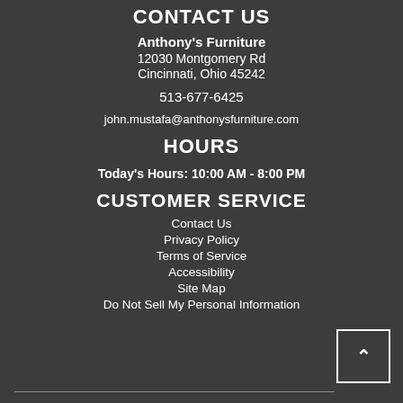CONTACT US
Anthony's Furniture
12030 Montgomery Rd
Cincinnati, Ohio 45242
513-677-6425
john.mustafa@anthonysfurniture.com
HOURS
Today's Hours: 10:00 AM - 8:00 PM
CUSTOMER SERVICE
Contact Us
Privacy Policy
Terms of Service
Accessibility
Site Map
Do Not Sell My Personal Information